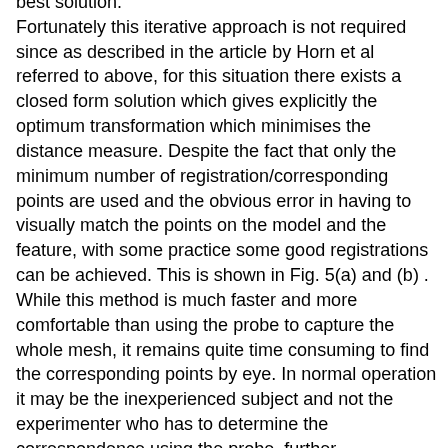best solution. Fortunately this iterative approach is not required since as described in the article by Horn et al referred to above, for this situation there exists a closed form solution which gives explicitly the optimum transformation which minimises the distance measure. Despite the fact that only the minimum number of registration/corresponding points are used and the obvious error in having to visually match the points on the model and the feature, with some practice some good registrations can be achieved. This is shown in Fig. 5(a) and (b) . While this method is much faster and more comfortable than using the probe to capture the whole mesh, it remains quite time consuming to find the corresponding points by eye. In normal operation it may be the inexperienced subject and not the experimenter who has to determine the correspondence using the probe, further complicating the process. All . these factors contributes to the overall error in using the embodiment. (2) Solution for the unknown correspondences approach In the unknown correspondence approach we propose